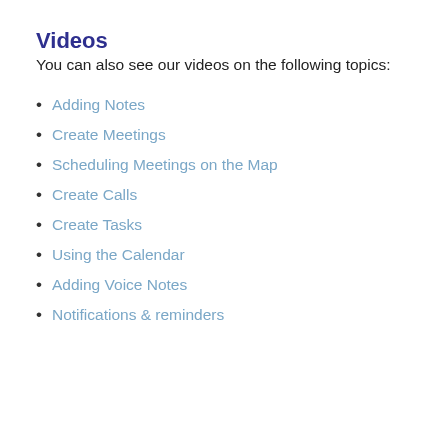Videos
You can also see our videos on the following topics:
Adding Notes
Create Meetings
Scheduling Meetings on the Map
Create Calls
Create Tasks
Using the Calendar
Adding Voice Notes
Notifications & reminders